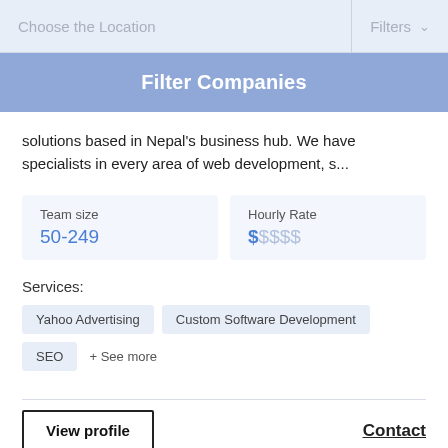Choose the Location
Filters
Filter Companies
solutions based in Nepal's business hub. We have specialists in every area of web development, s...
| Team size | Hourly Rate |
| --- | --- |
| 50-249 | $$$$$ |
Services:
Yahoo Advertising
Custom Software Development
SEO
+ See more
View profile
Contact